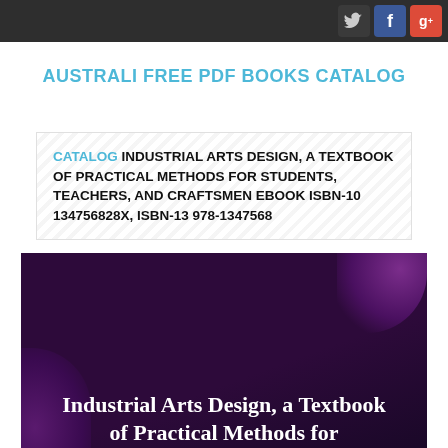AUSTRALI FREE PDF BOOKS CATALOG
CATALOG INDUSTRIAL ARTS DESIGN, A TEXTBOOK OF PRACTICAL METHODS FOR STUDENTS, TEACHERS, AND CRAFTSMEN EBOOK ISBN-10 134756828X, ISBN-13 978-1347568
[Figure (photo): Book cover for Industrial Arts Design, a Textbook of Practical Methods for Students on a dark purple background with text overlay]